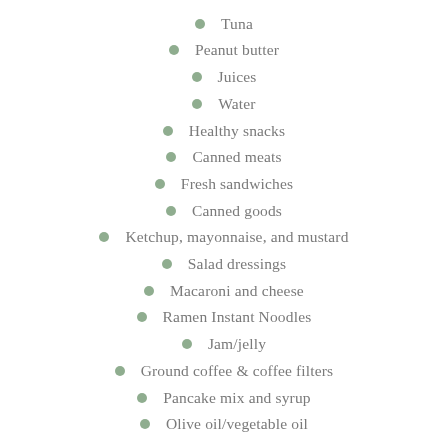Tuna
Peanut butter
Juices
Water
Healthy snacks
Canned meats
Fresh sandwiches
Canned goods
Ketchup, mayonnaise, and mustard
Salad dressings
Macaroni and cheese
Ramen Instant Noodles
Jam/jelly
Ground coffee & coffee filters
Pancake mix and syrup
Olive oil/vegetable oil